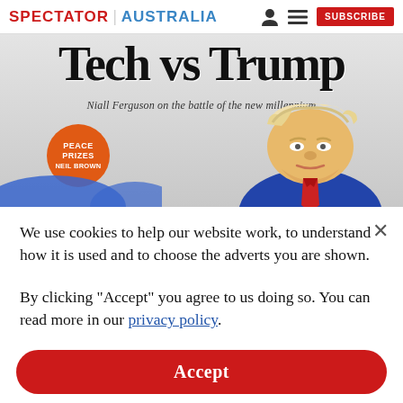SPECTATOR | AUSTRALIA  [person icon] [menu icon]  SUBSCRIBE
[Figure (illustration): Spectator Australia magazine cover showing 'Tech vs Trump' headline with subtitle 'Niall Ferguson on the battle of the new millennium', an orange circle badge reading 'PEACE PRIZES NEIL BROWN', and a caricature illustration of Donald Trump facing left with exaggerated hair.]
We use cookies to help our website work, to understand how it is used and to choose the adverts you are shown.
By clicking "Accept" you agree to us doing so. You can read more in our privacy policy.
Accept